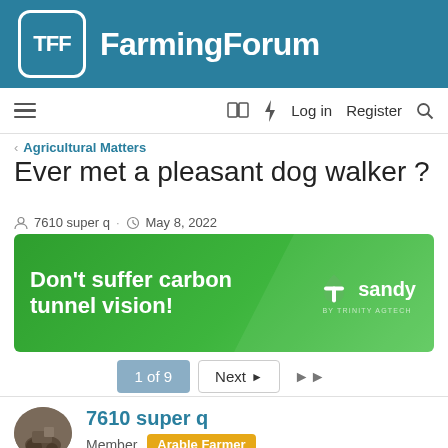[Figure (logo): TFF FarmingForum logo with white TFF icon in rounded square on teal background and white FarmingForum text]
≡  🕮  ⚡  Log in   Register   🔍
< Agricultural Matters
Ever met a pleasant dog walker ?
7610 super q · May 8, 2022
[Figure (illustration): Green advertisement banner reading 'Don't suffer carbon tunnel vision!' with Sandy by Trinity Agtech logo on right]
1 of 9   Next ▶   ▶▶
7610 super q
Member   Arable Farmer